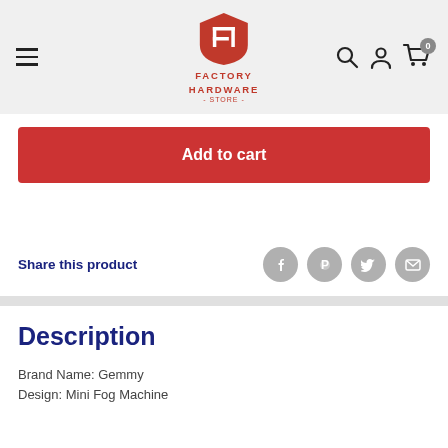Factory Hardware Store
Add to cart
Share this product
Description
Brand Name: Gemmy
Design: Mini Fog Machine